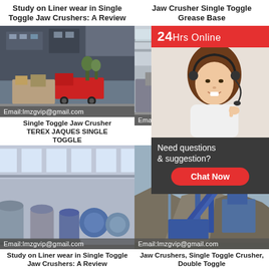Study on Liner wear in Single Toggle Jaw Crushers: A Review
Jaw Crusher Single Toggle Grease Base
[Figure (photo): Industrial jaw crusher equipment on transport trucks outside a factory building. Email:lmzgvip@gmail.com overlay at bottom.]
Single Toggle Jaw Crusher TEREX JAQUES SINGLE TOGGLE
[Figure (photo): Factory interior with industrial crusher machinery. Email:lmzg overlay at bottom. 24Hrs Online banner and woman with headset customer service widget overlaid on right side.]
Single Toggle Jaw Crusher
[Figure (photo): Large industrial facility interior with multiple jaw crushers and machinery. Email:lmzgvip@gmail.com overlay at bottom.]
Study on Liner wear in Single Toggle Jaw Crushers: A Review
[Figure (photo): Outdoor mining site with jaw crusher conveyor equipment and aggregate piles. Email:lmzgvip@gmail.com overlay at bottom.]
Jaw Crushers, Single Toggle Crusher, Double Toggle